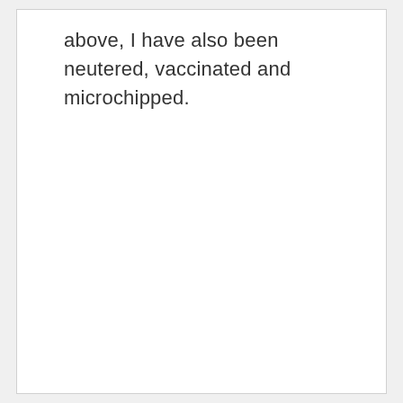above, I have also been neutered, vaccinated and microchipped.